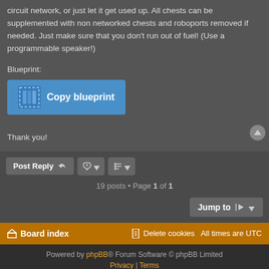circuit network, or just let it get used up. All chests can be supplemented with non networked chests and roboports removed if needed. Just make sure that you don't run out of fuel! (Use a programmable speaker!)
Blueprint:
[Figure (screenshot): Blue 'Copy blueprint' button with blueprint icon]
Thank you!
Post Reply
19 posts • Page 1 of 1
Jump to
Board index   Delete cookies   All times are UTC
Powered by phpBB® Forum Software © phpBB Limited   Privacy | Terms